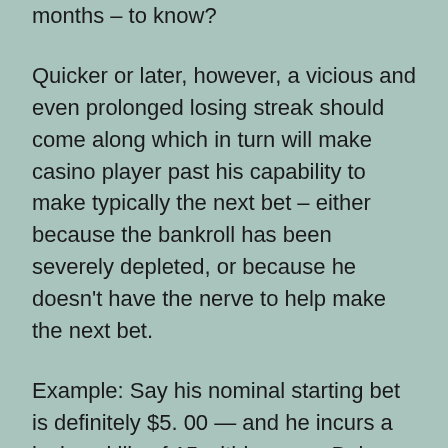months – to know?
Quicker or later, however, a vicious and even prolonged losing streak should come along which in turn will make casino player past his capability to make typically the next bet – either because the bankroll has been severely depleted, or because he doesn't have the nerve to help make the next bet.
Example: Say his nominal starting bet is definitely $5. 00 — and he incurs a losing skills of 15 within a row. Below are the essential bets